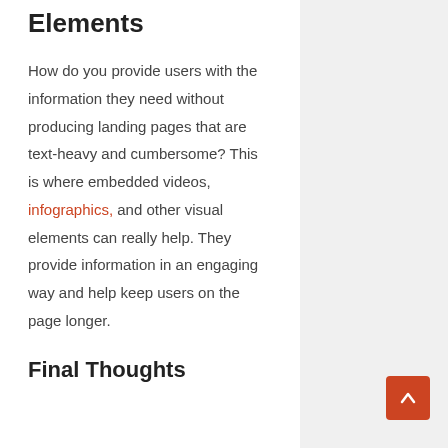Elements
How do you provide users with the information they need without producing landing pages that are text-heavy and cumbersome? This is where embedded videos, infographics, and other visual elements can really help. They provide information in an engaging way and help keep users on the page longer.
Final Thoughts